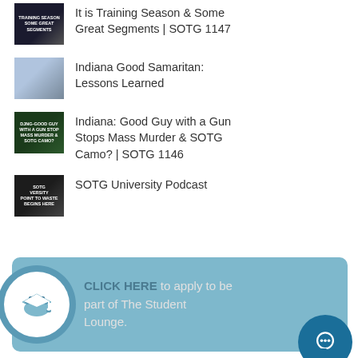It is Training Season & Some Great Segments | SOTG 1147
Indiana Good Samaritan: Lessons Learned
Indiana: Good Guy with a Gun Stops Mass Murder & SOTG Camo? | SOTG 1146
SOTG University Podcast
[Figure (infographic): Light blue banner with graduation cap circle icon on the left and text: CLICK HERE to apply to be part of The Student Lounge. A teal chat bubble icon appears at the bottom right.]